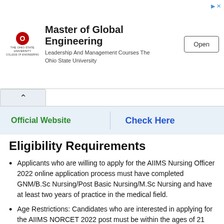[Figure (screenshot): Advertisement banner for The Ohio State University Master of Global Engineering with logo, text, and Open button]
| Official Website | Check Here |
| --- | --- |
Eligibility Requirements
Applicants who are willing to apply for the AIIMS Nursing Officer 2022 online application process must have completed GNM/B.Sc Nursing/Post Basic Nursing/M.Sc Nursing and have at least two years of practice in the medical field.
Age Restrictions: Candidates who are interested in applying for the AIIMS NORCET 2022 post must be within the ages of 21 and 35 years old.